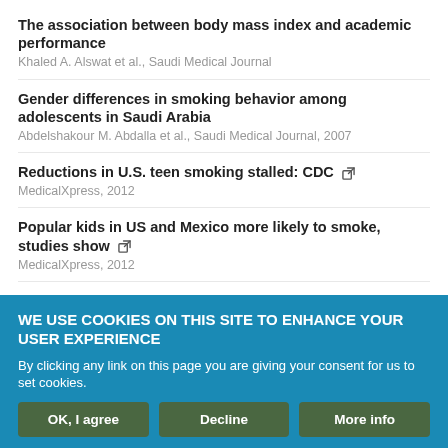The association between body mass index and academic performance
Khaled A. Alswat et al., Saudi Medical Journal
Gender differences in smoking behavior among adolescents in Saudi Arabia
Abdelshakour M. Abdalla et al., Saudi Medical Journal, 2007
Reductions in U.S. teen smoking stalled: CDC [external link]
MedicalXpress, 2012
Popular kids in US and Mexico more likely to smoke, studies show [external link]
MedicalXpress, 2012
Transmembrane anion transport promoted by thioamides [external link]
Robert Pomorski et al., RSC Advances Organic - Jan 2022 Campaign 2 IF, 2021
WE USE COOKIES ON THIS SITE TO ENHANCE YOUR USER EXPERIENCE
By clicking any link on this page you are giving your consent for us to set cookies.
OK, I agree | Decline | More info